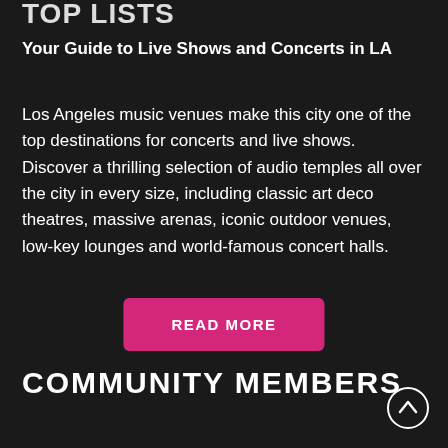TOP LISTS
Your Guide to Live Shows and Concerts in LA
Los Angeles music venues make this city one of the top destinations for concerts and live shows. Discover a thrilling selection of audio temples all over the city in every size, including classic art deco theatres, massive arenas, iconic outdoor venues, low-key lounges and world-famous concert halls.
READ MORE
COMMUNITY MEMBERS